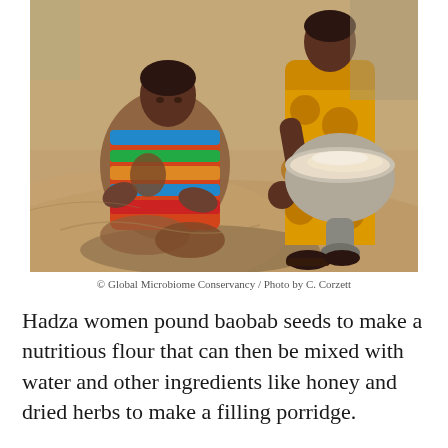[Figure (photo): Two Hadza women outdoors on rocky ground. One woman is seated cross-legged in colorful striped clothing, working with ground material on the rock surface. Another woman stands holding a metal bowl/pot filled with flour-like powder, wearing an orange/yellow patterned wrap skirt.]
© Global Microbiome Conservancy / Photo by C. Corzett
Hadza women pound baobab seeds to make a nutritious flour that can then be mixed with water and other ingredients like honey and dried herbs to make a filling porridge.